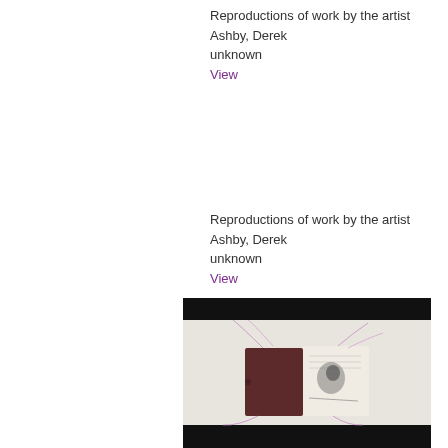Reproductions of work by the artist
Ashby, Derek
unknown
View
Reproductions of work by the artist
Ashby, Derek
unknown
View
[Figure (photo): Artwork showing an open book/notebook with a dark brown cover on the left page and illustrated/printed content on the right page, with thread or fibers extending from it, displayed on a light background. The image is framed with black bars at top and bottom.]